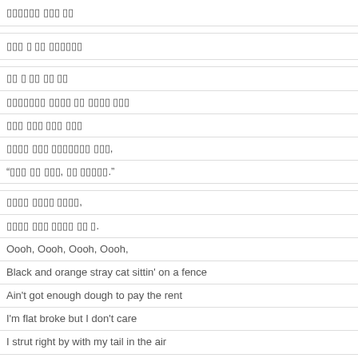▯▯▯▯▯▯ ▯▯▯ ▯▯
▯▯▯ ▯ ▯▯ ▯▯▯▯▯▯
▯▯ ▯ ▯▯ ▯▯ ▯▯
▯▯▯▯▯▯▯ ▯▯▯▯ ▯▯ ▯▯▯▯ ▯▯▯
▯▯▯ ▯▯▯ ▯▯▯ ▯▯▯
▯▯▯▯ ▯▯▯ ▯▯▯▯▯▯▯ ▯▯▯,
"▯▯▯ ▯▯ ▯▯▯, ▯▯ ▯▯▯▯▯."
▯▯▯▯ ▯▯▯▯ ▯▯▯▯,
▯▯▯▯ ▯▯▯ ▯▯▯▯ ▯▯ ▯.
Oooh, Oooh, Oooh, Oooh,
Black and orange stray cat sittin' on a fence
Ain't got enough dough to pay the rent
I'm flat broke but I don't care
I strut right by with my tail in the air